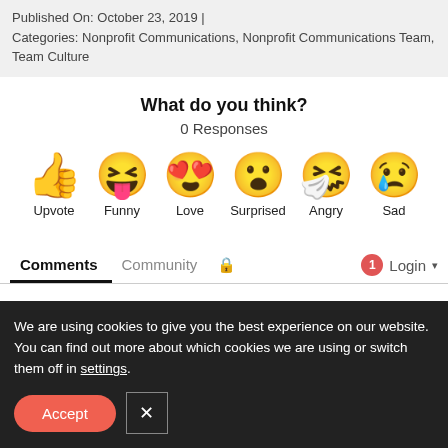Published On: October 23, 2019 | Categories: Nonprofit Communications, Nonprofit Communications Team, Team Culture
What do you think?
0 Responses
[Figure (infographic): Six emoji reaction buttons: Upvote (thumbs up), Funny (laughing face with tongue), Love (heart eyes), Surprised (wide-eyed face), Angry (crying/sneezing face), Sad (crying face with tear)]
Comments  Community  🔒  1  Login
We are using cookies to give you the best experience on our website.
You can find out more about which cookies we are using or switch them off in settings.